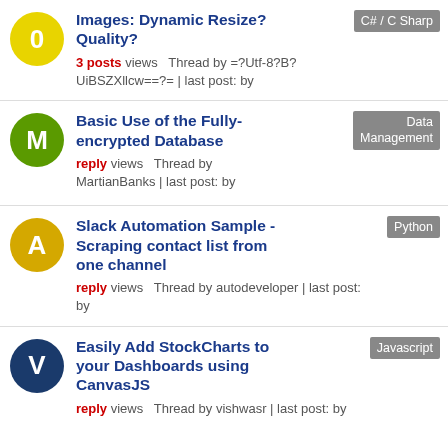Images: Dynamic Resize? Quality? | 3 posts views Thread by =?Utf-8?B?UiBSZXllcw==?= | last post: by | Tag: C# / C Sharp
Basic Use of the Fully-encrypted Database | reply views Thread by MartianBanks | last post: by | Tag: Data Management
Slack Automation Sample - Scraping contact list from one channel | reply views Thread by autodeveloper | last post: by | Tag: Python
Easily Add StockCharts to your Dashboards using CanvasJS | reply views Thread by vishwasr | last post: by | Tag: Javascript